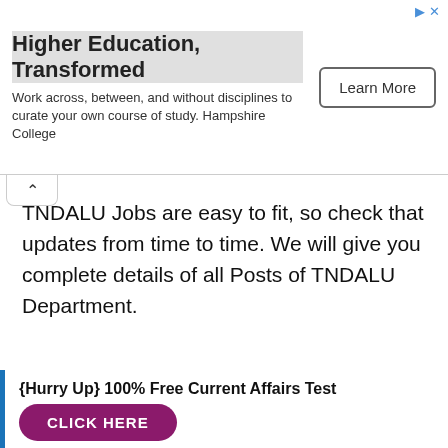[Figure (other): Advertisement banner for Hampshire College: 'Higher Education, Transformed' with 'Learn More' button]
TNDALU Jobs are easy to fit, so check that updates from time to time. We will give you complete details of all Posts of TNDALU Department.
{Hurry Up} 100% Free Current Affairs Test CLICK HERE
Get Free Latest Answer Key | Paper Solution CLICK HERE
Download Naukri Day Android App {for Quick